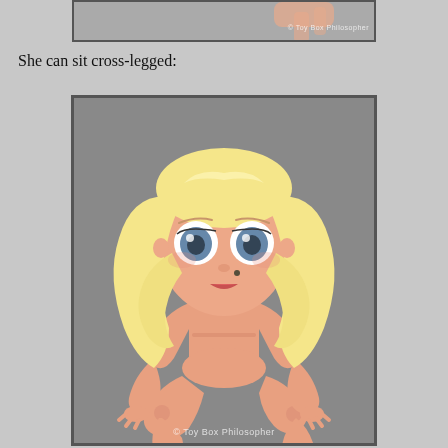[Figure (photo): Partial top view of a Blythe doll, cropped, with watermark 'Toy Box Philosopher' at bottom right]
She can sit cross-legged:
[Figure (photo): A Blythe doll with long blonde wavy hair, large blue eyes, sitting cross-legged on a gray surface. The doll is nude/unclothed showing articulated joints. Watermark 'Toy Box Philosopher' at bottom.]